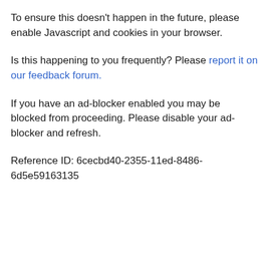To ensure this doesn't happen in the future, please enable Javascript and cookies in your browser.
Is this happening to you frequently? Please report it on our feedback forum.
If you have an ad-blocker enabled you may be blocked from proceeding. Please disable your ad-blocker and refresh.
Reference ID: 6cecbd40-2355-11ed-8486-6d5e59163135